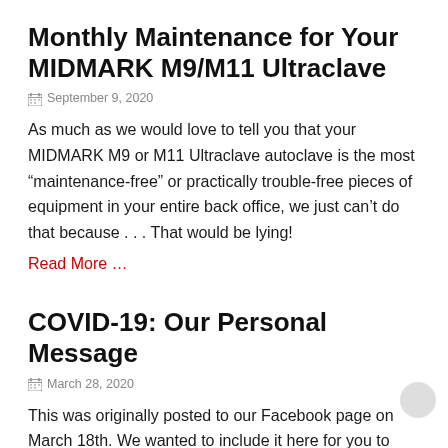Monthly Maintenance for Your MIDMARK M9/M11 Ultraclave
September 9, 2020
As much as we would love to tell you that your MIDMARK M9 or M11 Ultraclave autoclave is the most “maintenance-free” or practically trouble-free pieces of equipment in your entire back office, we just can’t do that because . . . That would be lying!
Read More …
COVID-19: Our Personal Message
March 28, 2020
This was originally posted to our Facebook page on March 18th. We wanted to include it here for you to read. Hello!  I